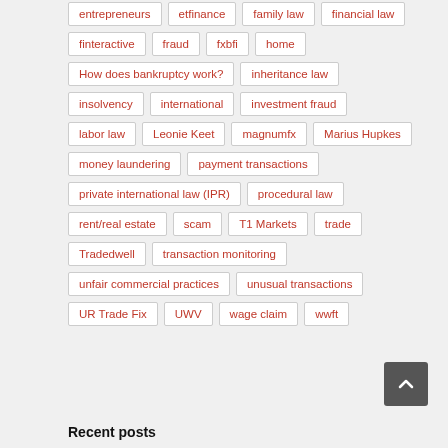entrepreneurs
etfinance
family law
financial law
finteractive
fraud
fxbfi
home
How does bankruptcy work?
inheritance law
insolvency
international
investment fraud
labor law
Leonie Keet
magnumfx
Marius Hupkes
money laundering
payment transactions
private international law (IPR)
procedural law
rent/real estate
scam
T1 Markets
trade
Tradedwell
transaction monitoring
unfair commercial practices
unusual transactions
UR Trade Fix
UWV
wage claim
wwft
Recent posts